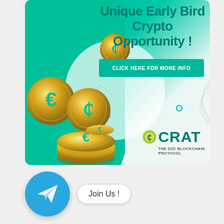Unique Early Bird Crypto Opportunity !
CLICK HERE FOR MORE INFO
[Figure (logo): CRAT - The D2C Blockchain Protocol logo with euro-style C symbol in teal/green]
[Figure (illustration): Gold coins with teal euro/C symbols, cryptocurrency coins stacked, on teal and white gradient background]
Join Us !